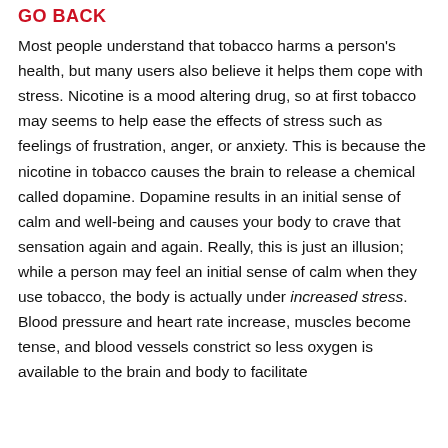GO BACK
Most people understand that tobacco harms a person's health, but many users also believe it helps them cope with stress. Nicotine is a mood altering drug, so at first tobacco may seems to help ease the effects of stress such as feelings of frustration, anger, or anxiety. This is because the nicotine in tobacco causes the brain to release a chemical called dopamine. Dopamine results in an initial sense of calm and well-being and causes your body to crave that sensation again and again. Really, this is just an illusion; while a person may feel an initial sense of calm when they use tobacco, the body is actually under increased stress. Blood pressure and heart rate increase, muscles become tense, and blood vessels constrict so less oxygen is available to the brain and body to facilitate